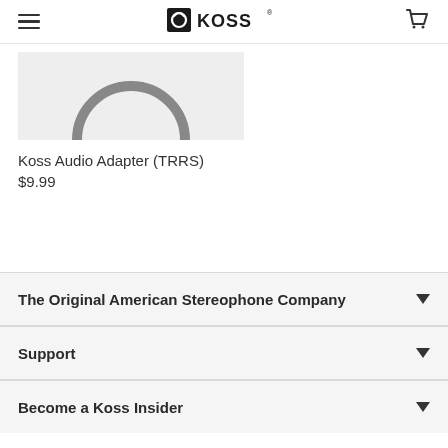KOSS
[Figure (photo): Partial product image of Koss Audio Adapter (TRRS) on light grey background, showing circular connector element]
Koss Audio Adapter (TRRS)
$9.99
The Original American Stereophone Company
Support
Become a Koss Insider